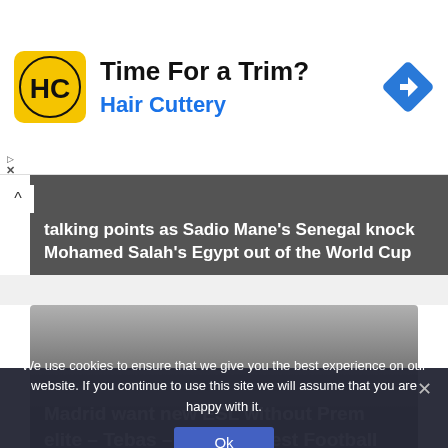[Figure (infographic): Hair Cuttery advertisement banner with yellow logo, 'Time For a Trim?' headline, 'Hair Cuttery' subtext in blue, and a blue navigation diamond icon on the right.]
talking points as Sadio Mane's Senegal knock Mohamed Salah's Egypt out of the World Cup
[Figure (photo): Sports news article card with gradient dark background showing headline: Madrid want new ESL without Prem elite – Tebas – Ghana Latest Football News, Live Scores, Results]
We use cookies to ensure that we give you the best experience on our website. If you continue to use this site we will assume that you are happy with it.